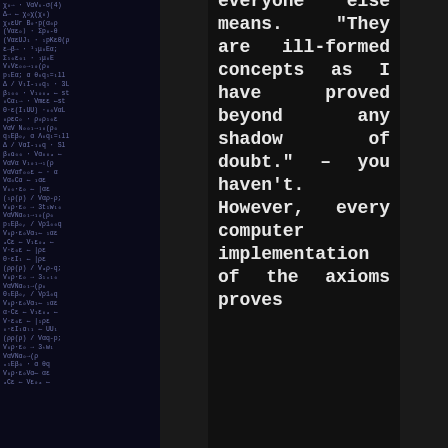[Figure (illustration): Dark background panels with blue-purple code/text on left and right sides, flanking a dark center column]
everyone else means. “They are ill-formed concepts as I have proved beyond any shadow of doubt.” – you haven’t. However, every computer implementation of the axioms proves